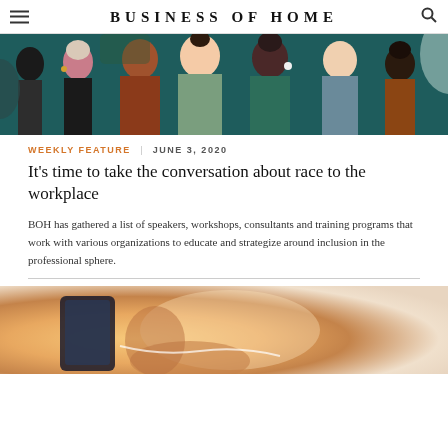BUSINESS OF HOME
[Figure (illustration): Colorful flat illustration of a diverse group of people standing together, showing various skin tones and styles, set against a teal/dark green background.]
WEEKLY FEATURE  |  JUNE 3, 2020
It's time to take the conversation about race to the workplace
BOH has gathered a list of speakers, workshops, consultants and training programs that work with various organizations to educate and strategize around inclusion in the professional sphere.
[Figure (photo): Blurred close-up photo of a person using a smartphone, warm tones with orange and cream colors.]